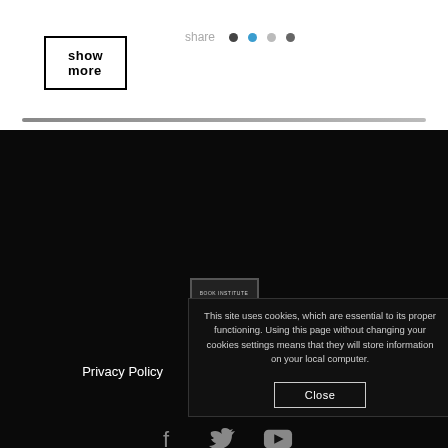show more
share
[Figure (logo): Book Institute Poland logo - white book icon in a box on dark background]
Privacy Policy   Cookies   About us/Contact
[Figure (infographic): Social media icons: Facebook, Twitter, YouTube]
© 2017 The Polish Book Institute
Deklaracja dostępności
Created by H7
This site uses cookies, which are essential to its proper functioning. Using this page without changing your cookies settings means that they will store information on your local computer.
Close